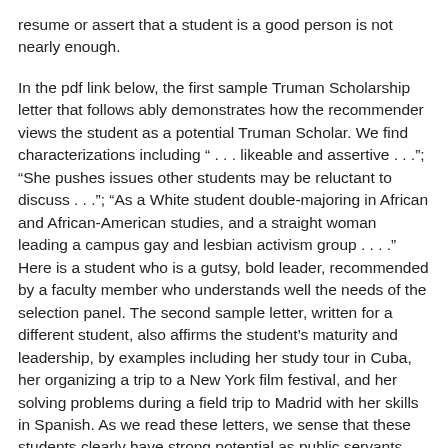resume or assert that a student is a good person is not nearly enough.
In the pdf link below, the first sample Truman Scholarship letter that follows ably demonstrates how the recommender views the student as a potential Truman Scholar. We find characterizations including " . . . likeable and assertive . . ."; "She pushes issues other students may be reluctant to discuss . . ."; "As a White student double-majoring in African and African-American studies, and a straight woman leading a campus gay and lesbian activism group . . . ." Here is a student who is a gutsy, bold leader, recommended by a faculty member who understands well the needs of the selection panel. The second sample letter, written for a different student, also affirms the student's maturity and leadership, by examples including her study tour in Cuba, her organizing a trip to a New York film festival, and her solving problems during a field trip to Madrid with her skills in Spanish. As we read these letters, we sense that these students clearly have strong potential as public servants.
Click here to download a pdf of two recommendation letters written for former Truman Scholarship applicants.